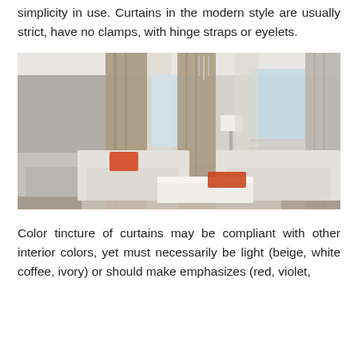simplicity in use. Curtains in the modern style are usually strict, have no clamps, with hinge straps or eyelets.
[Figure (photo): Modern living room interior with floor-to-ceiling beige and grey curtains, white sofas, orange accent cushions and a decorative tray on a coffee table, with a pendant light fixture.]
Color tincture of curtains may be compliant with other interior colors, yet must necessarily be light (beige, white coffee, ivory) or should make emphasizes (red, violet,